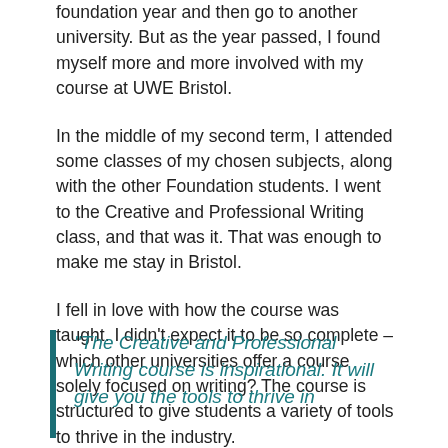foundation year and then go to another university. But as the year passed, I found myself more and more involved with my course at UWE Bristol.
In the middle of my second term, I attended some classes of my chosen subjects, along with the other Foundation students. I went to the Creative and Professional Writing class, and that was it. That was enough to make me stay in Bristol.
I fell in love with how the course was taught. I didn’t expect it to be so complete – which other universities offer a course solely focused on writing? The course is structured to give students a variety of tools to thrive in the industry.
“The Creative and Professional Writing course is inspirational. It will give you the tools to thrive in…